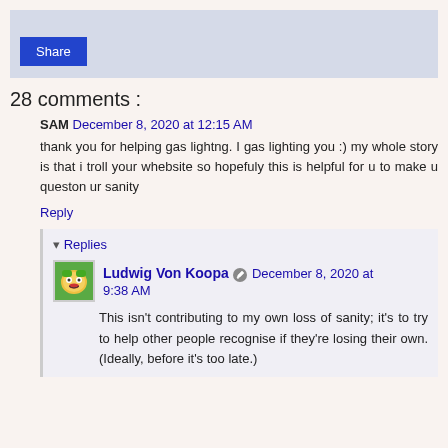[Figure (other): Share button area with light blue-grey background]
28 comments :
SAM December 8, 2020 at 12:15 AM
thank you for helping gas lightng. I gas lighting you :) my whole story is that i troll your whebsite so hopefuly this is helpful for u to make u queston ur sanity
Reply
▾ Replies
Ludwig Von Koopa December 8, 2020 at 9:38 AM
This isn't contributing to my own loss of sanity; it's to try to help other people recognise if they're losing their own. (Ideally, before it's too late.)